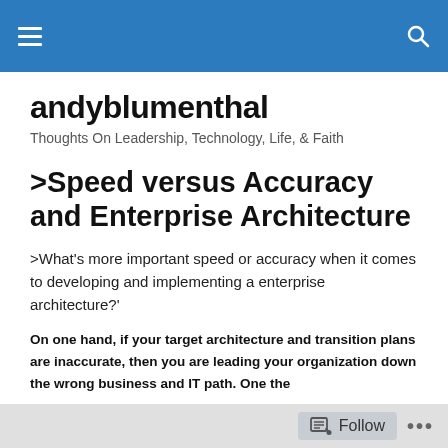andyblumenthal
andyblumenthal
Thoughts On Leadership, Technology, Life, & Faith
>Speed versus Accuracy and Enterprise Architecture
>What's more important speed or accuracy when it comes to developing and implementing a enterprise architecture?'
On one hand, if your target architecture and transition plans are inaccurate, then you are leading your organization down the wrong business and IT path. One the
Follow